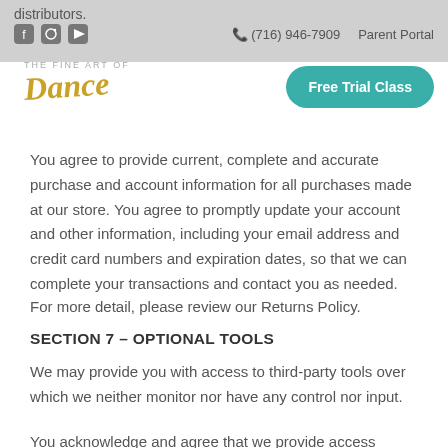distributors.  ☎ (716) 946-7909  Parent Portal
[Figure (logo): Dance studio logo with italicized text 'Dance' in gold/yellow]
[Figure (other): Green rounded button labeled 'Free Trial Class']
You agree to provide current, complete and accurate purchase and account information for all purchases made at our store. You agree to promptly update your account and other information, including your email address and credit card numbers and expiration dates, so that we can complete your transactions and contact you as needed.
For more detail, please review our Returns Policy.
SECTION 7 – OPTIONAL TOOLS
We may provide you with access to third-party tools over which we neither monitor nor have any control nor input.
You acknowledge and agree that we provide access